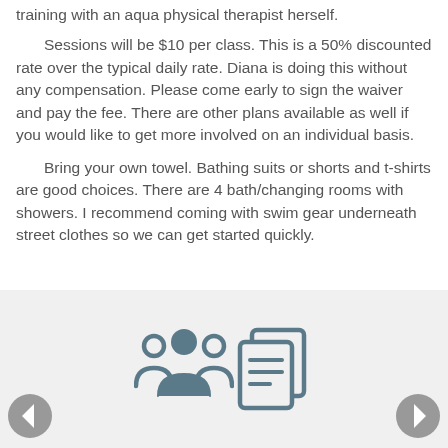training with an aqua physical therapist herself.
Sessions will be $10 per class. This is a 50% discounted rate over the typical daily rate. Diana is doing this without any compensation. Please come early to sign the waiver and pay the fee. There are other plans available as well if you would like to get more involved on an individual basis.
Bring your own towel. Bathing suits or shorts and t-shirts are good choices. There are 4 bath/changing rooms with showers. I recommend coming with swim gear underneath street clothes so we can get started quickly.
[Figure (illustration): Navigation arrows and two icons: a group of people icon and a document/notes icon, on a light gray footer bar.]